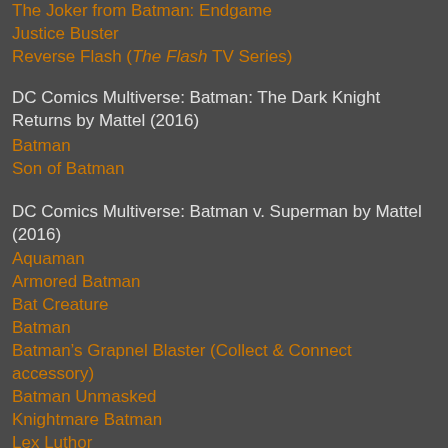The Joker from Batman: Endgame
Justice Buster
Reverse Flash (The Flash TV Series)
DC Comics Multiverse: Batman: The Dark Knight Returns by Mattel (2016)
Batman
Son of Batman
DC Comics Multiverse: Batman v. Superman by Mattel (2016)
Aquaman
Armored Batman
Bat Creature
Batman
Batman’s Grapnel Blaster (Collect & Connect accessory)
Batman Unmasked
Knightmare Batman
Lex Luthor
Superman
Wonder Woman